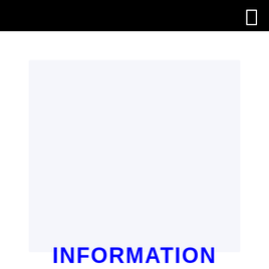[Figure (other): Large light blue-gray rectangular card/panel on white background]
INFORMATION